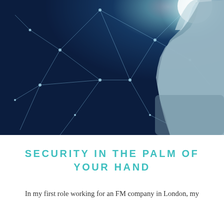[Figure (photo): Dark blue background with glowing network/constellation lines and nodes. A human hand and forearm reaching up from the right side, touching a bright glowing white light at the upper right corner.]
SECURITY IN THE PALM OF YOUR HAND
In my first role working for an FM company in London, my